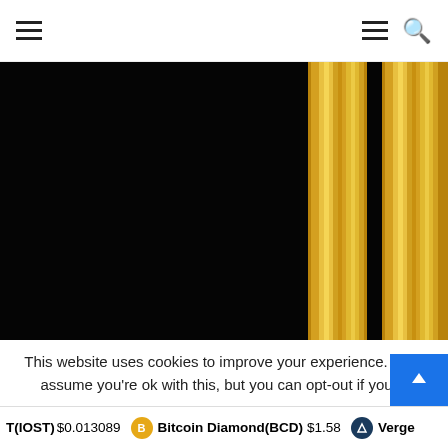Navigation header with hamburger menu and search icon
[Figure (photo): Close-up abstract image of golden/yellow architectural columns or pillars against black background, showing alternating dark and golden vertical stripes with ornate molding details]
This website uses cookies to improve your experience. We'll assume you're ok with this, but you can opt-out if you w
T(IOST) $0.013089  Bitcoin Diamond(BCD) $1.58  Verge